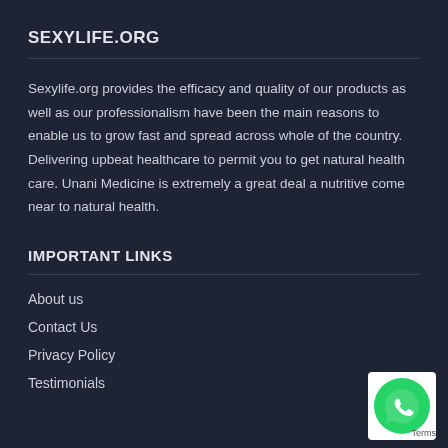SEXYLIFE.ORG
Sexylife.org provides the efficacy and quality of our products as well as our professionalism have been the main reasons to enable us to grow fast and spread across whole of the country. Delivering upbeat healthcare to permit you to get natural health care. Unani Medicine is extremely a great deal a nutritive come near to natural health.
IMPORTANT LINKS
About us
Contact Us
Privacy Policy
Testimonials
[Figure (logo): Green circle WhatsApp phone icon button with white phone handset, partial 'Terms' text visible at bottom right]